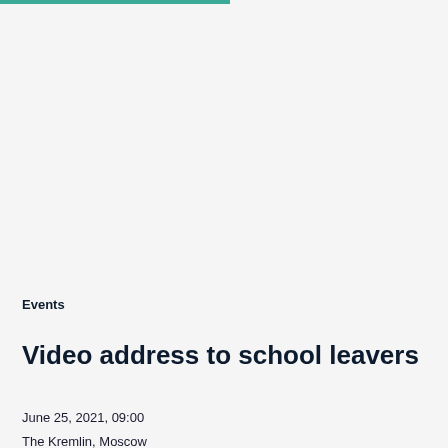Events
Video address to school leavers
June 25, 2021, 09:00
The Kremlin, Moscow